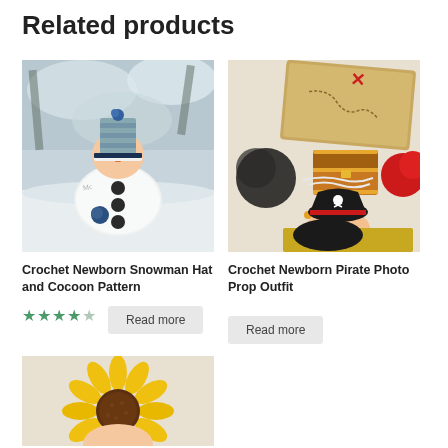Related products
[Figure (photo): Newborn baby dressed in a white crochet snowman cocoon with a snowman hat, lying in snow with snowy pine branches in the background.]
Crochet Newborn Snowman Hat and Cocoon Pattern
[Figure (photo): Newborn baby dressed in a crochet pirate outfit (red and black hat, black cape) lying next to a treasure chest, treasure map, and decorative pom poms.]
Crochet Newborn Pirate Photo Prop Outfit
[Figure (photo): Newborn or child wearing a bright yellow crochet sunflower hat, partially visible at the bottom of the page.]